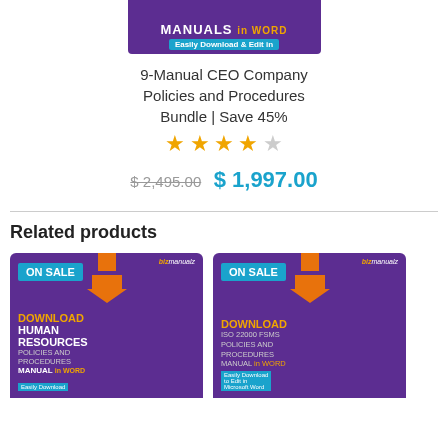[Figure (illustration): Book cover thumbnail for 9-Manual CEO Company Policies and Procedures Bundle, purple background with MANUALS in WORD text]
9-Manual CEO Company Policies and Procedures Bundle | Save 45%
Star rating: 4 out of 5 stars (approximately 4.5)
$ 2,495.00  $ 1,997.00
Related products
[Figure (illustration): Product card: ON SALE badge, Download Human Resources Policies and Procedures Manual in Word, purple cover with orange download arrow]
[Figure (illustration): Product card: ON SALE badge, Download ISO 22000 FSMS Policies and Procedures Manual, purple cover with orange download arrow]